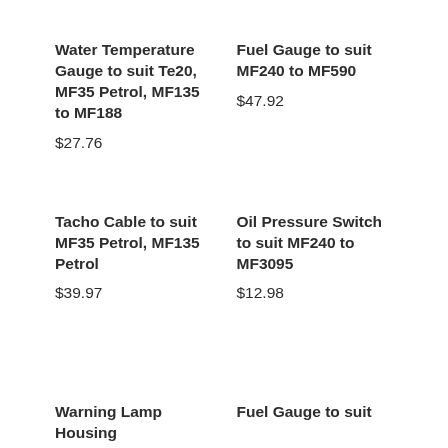Water Temperature Gauge to suit Te20, MF35 Petrol, MF135 to MF188
$27.76
Fuel Gauge to suit MF240 to MF590
$47.92
Tacho Cable to suit MF35 Petrol, MF135 Petrol
$39.97
Oil Pressure Switch to suit MF240 to MF3095
$12.98
Warning Lamp Housing
Fuel Gauge to suit